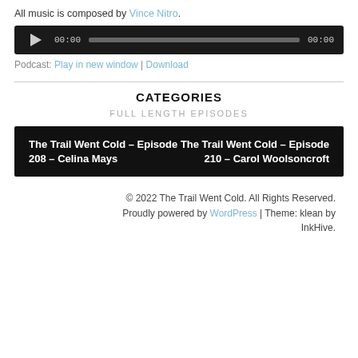All music is composed by Vince Nitro.
[Figure (other): Audio player widget with play button, time display 00:00, progress bar, and end time 00:00 on dark background]
Podcast: Play in new window | Download
CATEGORIES
FULL LENGTH EPISODES
[Figure (other): Dark box showing two episode links: 'The Trail Went Cold – Episode 208 – Celina Mays' and 'The Trail Went Cold – Episode 210 – Carol Woolsoncroft']
© 2022 The Trail Went Cold. All Rights Reserved. Proudly powered by WordPress | Theme: klean by InkHive.